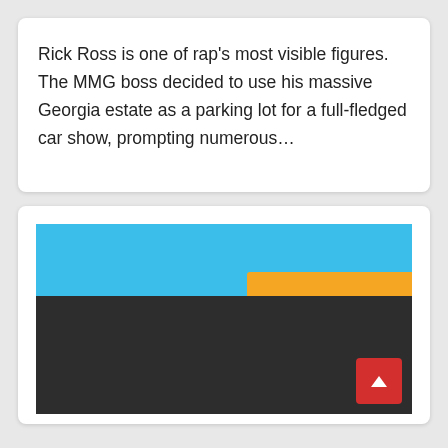Rick Ross is one of rap's most visible figures. The MMG boss decided to use his massive Georgia estate as a parking lot for a full-fledged car show, prompting numerous…
[Figure (photo): Partially loaded image showing a blue sky at the top, an orange/yellow horizontal bar overlapping the sky on the right side, and a large dark/black area below representing a video or photo that has not fully loaded. A red scroll-to-top button with an upward arrow is visible in the bottom-right corner.]